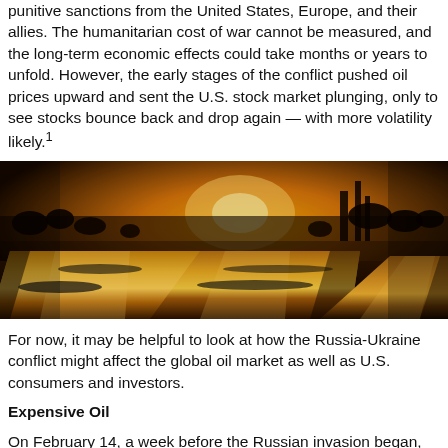punitive sanctions from the United States, Europe, and their allies. The humanitarian cost of war cannot be measured, and the long-term economic effects could take months or years to unfold. However, the early stages of the conflict pushed oil prices upward and sent the U.S. stock market plunging, only to see stocks bounce back and drop again — with more volatility likely.¹
[Figure (photo): Industrial oil pipelines photographed at golden hour/sunset, with warm orange and yellow tones. The pipes run diagonally across the frame with industrial infrastructure and trees silhouetted in the background.]
For now, it may be helpful to look at how the Russia-Ukraine conflict might affect the global oil market as well as U.S. consumers and investors.
Expensive Oil
On February 14, a week before the Russian invasion began, the